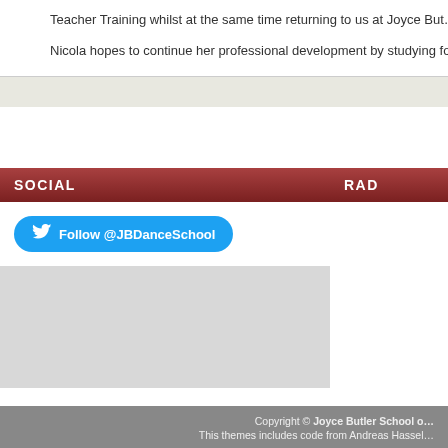Teacher Training whilst at the same time returning to us at Joyce But...
Nicola hopes to continue her professional development by studying fo...
SOCIAL
Follow @JBDanceSchool
RAD
Copyright © Joyce Butler School of Dance · This themes includes code from Andreas Hassel...